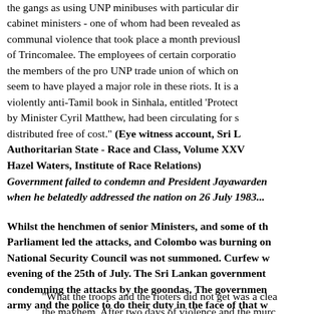the gangs as using UNP minibuses with particular direction cabinet ministers - one of whom had been revealed as communal violence that took place a month previously of Trincomalee. The employees of certain corporation the members of the pro UNP trade union of which one seem to have played a major role in these riots. It is a violently anti-Tamil book in Sinhala, entitled 'Protect by Minister Cyril Matthew, had been circulating for s distributed free of cost." (Eye witness account, Sri L Authoritarian State - Race and Class, Volume XXV, Hazel Waters, Institute of Race Relations)
Government failed to condemn and President Jayawarden when he belatedly addressed the nation on 26 July 1983...
Whilst the henchmen of senior Ministers, and some of the Parliament led the attacks, and Colombo was burning on National Security Council was not summoned. Curfew w evening of the 25th of July. The Sri Lankan government condemning the attacks by the goondas. The governmen army and the police to do their duty in the face of that w out was a "left inspired attack" directed against itself.
"What the troops and the rioters did not get was a clea the mayhem. After two days of violence and the murc maximum security jail, the only editorial in the gover